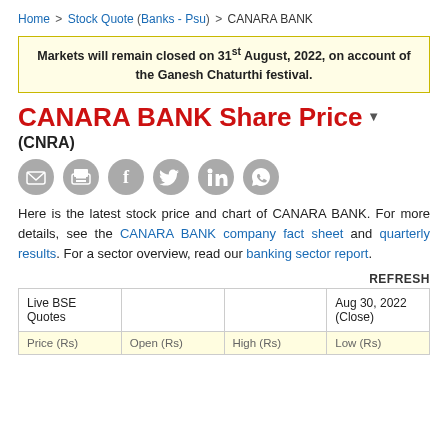Home > Stock Quote (Banks - Psu) > CANARA BANK
Markets will remain closed on 31st August, 2022, on account of the Ganesh Chaturthi festival.
CANARA BANK Share Price
(CNRA)
[Figure (other): Social sharing icons: email, print, Facebook, Twitter, LinkedIn, WhatsApp]
Here is the latest stock price and chart of CANARA BANK. For more details, see the CANARA BANK company fact sheet and quarterly results. For a sector overview, read our banking sector report.
REFRESH
| Live BSE Quotes |  |  | Aug 30, 2022 (Close) |
| --- | --- | --- | --- |
| Price (Rs) | Open (Rs) | High (Rs) | Low (Rs) |